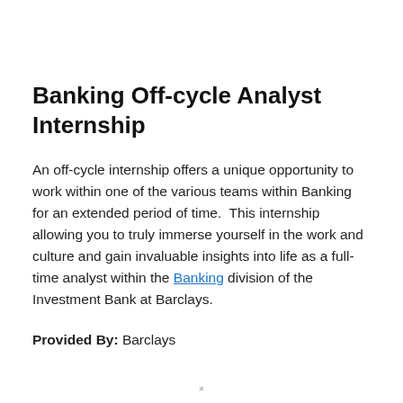Banking Off-cycle Analyst Internship
An off-cycle internship offers a unique opportunity to work within one of the various teams within Banking for an extended period of time.  This internship allowing you to truly immerse yourself in the work and culture and gain invaluable insights into life as a full-time analyst within the Banking division of the Investment Bank at Barclays.
Provided By: Barclays